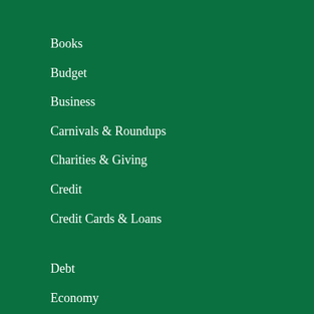Books
Budget
Business
Carnivals & Roundups
Charities & Giving
Credit
Credit Cards & Loans
Debt
Economy
Estate Planning
Finance
Financial health